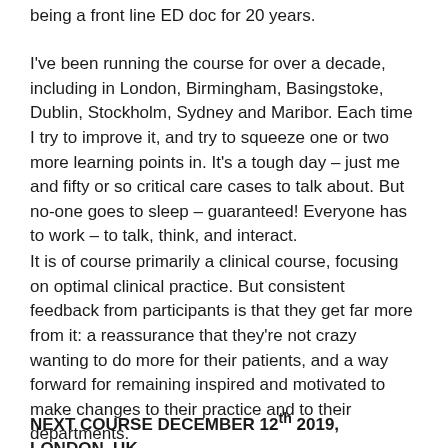being a front line ED doc for 20 years.
I've been running the course for over a decade, including in London, Birmingham, Basingstoke, Dublin, Stockholm, Sydney and Maribor. Each time I try to improve it, and try to squeeze one or two more learning points in. It's a tough day – just me and fifty or so critical care cases to talk about. But no-one goes to sleep – guaranteed! Everyone has to work – to talk, think, and interact.
It is of course primarily a clinical course, focusing on optimal clinical practice. But consistent feedback from participants is that they get far more from it: a reassurance that they're not crazy wanting to do more for their patients, and a way forward for remaining inspired and motivated to make changes to their practice and to their departments.
NEXT COURSE DECEMBER 12th 2019, LONDON, UK